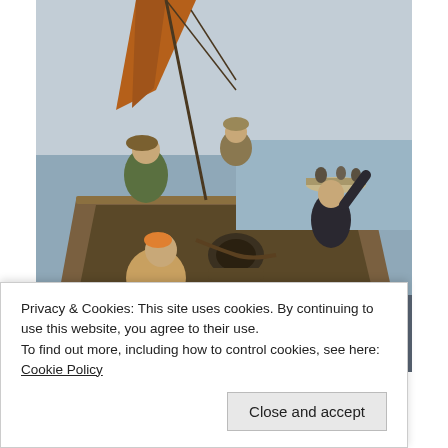[Figure (photo): Oil painting depicting fishermen on a boat. Several figures are on the deck of a wooden sailing vessel. A woman in a cape and hat stands on the left. A seated figure works near center. A man with arm raised is on the right side of the boat. A smaller rowboat with figures is visible in the background on calm water. The painting style is realist, 19th century. Below the painting is a dark gray banner with the word STANHOPE in large white serif letters.]
Privacy & Cookies: This site uses cookies. By continuing to use this website, you agree to their use.
To find out more, including how to control cookies, see here: Cookie Policy